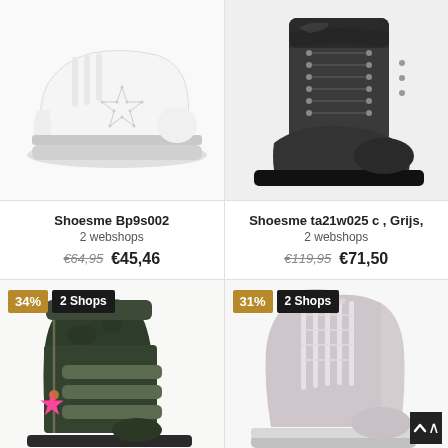[Figure (photo): White children's sneaker with star pattern and silver sole]
Shoesme Bp9s002
2 webshops
€64,95  €45,46
[Figure (photo): Dark grey/black lace-up children's boot]
Shoesme ta21w025 c , Grijs,
2 webshops
€119,95  €71,50
[Figure (photo): Dark green children's high-top boot with pink star charm and velcro straps, 34% discount badge, 2 Shops badge]
[Figure (photo): Silver/rose children's lace-up high-top sneaker, 31% discount badge, 2 Shops badge]